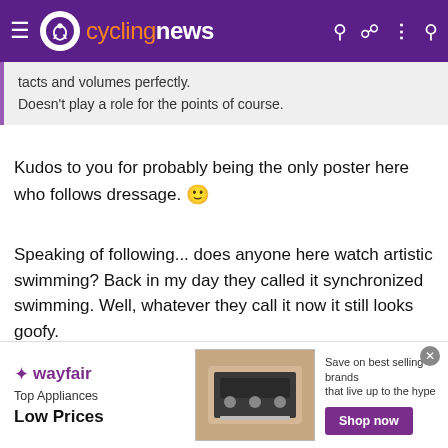cyclingnews
tacts and volumes perfectly.
Doesn't play a role for the points of course.
Kudos to you for probably being the only poster here who follows dressage. 🙂
Speaking of following... does anyone here watch artistic swimming? Back in my day they called it synchronized swimming. Well, whatever they call it now it still looks goofy.
BlueRoads
[Figure (screenshot): Wayfair advertisement banner: Top Appliances Low Prices, with stove image, Shop now button]